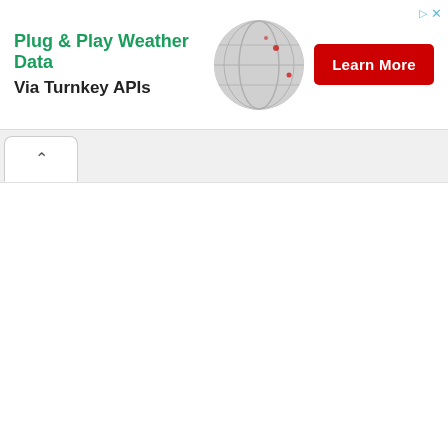[Figure (screenshot): Advertisement banner for weather data API service. Shows text 'Plug & Play Weather Data Via Turnkey APIs' on the left, a globe graphic in the center-right, and a red 'Learn More' button on the right. Small play and close icons in top-right corner.]
[Figure (screenshot): Browser UI elements: a tab bar with a collapse chevron tab on the left and a white active tab with an address bar input field.]
[Figure (screenshot): Empty white content area below the browser tab/address bar, representing a blank webpage content region.]